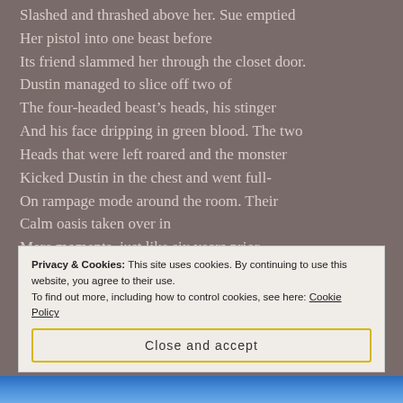Slashed and thrashed above her. Sue emptied
Her pistol into one beast before
Its friend slammed her through the closet door.
Dustin managed to slice off two of
The four-headed beast's heads, his stinger
And his face dripping in green blood. The two
Heads that were left roared and the monster
Kicked Dustin in the chest and went full-
On rampage mode around the room. Their
Calm oasis taken over in
Mere moments, just like six years prior
When Sedequa's life first exploded.
Privacy & Cookies: This site uses cookies. By continuing to use this website, you agree to their use.
To find out more, including how to control cookies, see here: Cookie Policy
Close and accept